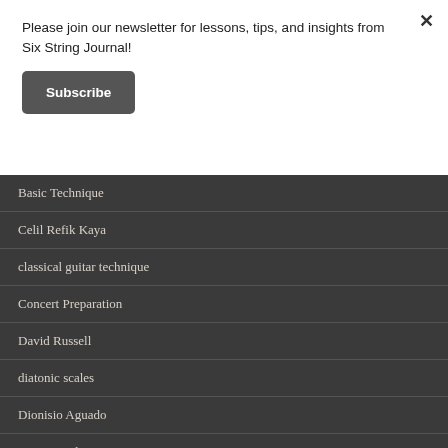Please join our newsletter for lessons, tips, and insights from Six String Journal!
Subscribe
Basic Technique
Celil Refik Kaya
classical guitar technique
Concert Preparation
David Russell
diatonic scales
Dionisio Aguado
Drew Henderson